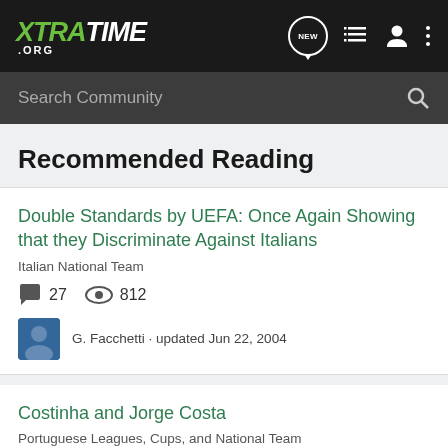XTRATIME .ORG
Search Community
Recommended Reading
Double Standards by UEFA: Once Again Showing that they Discriminate Against Italians
Italian National Team
27  812
G. Facchetti - updated Jun 22, 2004
Costinha and Jorge Costa
Portuguese Leagues, Cups, and National Team